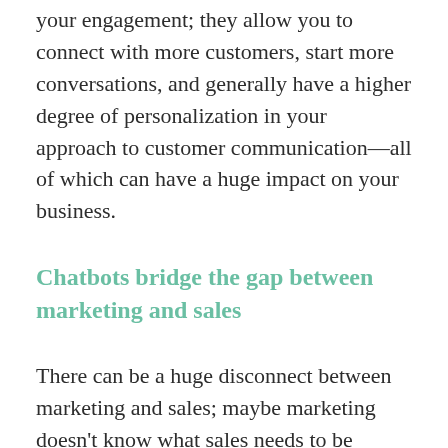your engagement; they allow you to connect with more customers, start more conversations, and generally have a higher degree of personalization in your approach to customer communication—all of which can have a huge impact on your business.
Chatbots bridge the gap between marketing and sales
There can be a huge disconnect between marketing and sales; maybe marketing doesn't know what sales needs to be successful or sales doesn't know exactly how the marketing funnel is set up (and where